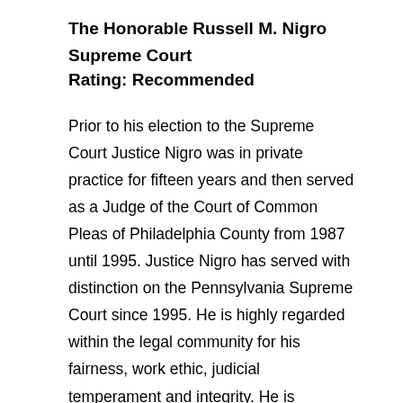The Honorable Russell M. Nigro
Supreme Court
Rating: Recommended
Prior to his election to the Supreme Court Justice Nigro was in private practice for fifteen years and then served as a Judge of the Court of Common Pleas of Philadelphia County from 1987 until 1995. Justice Nigro has served with distinction on the Pennsylvania Supreme Court since 1995. He is highly regarded within the legal community for his fairness, work ethic, judicial temperament and integrity. He is respectful and courteous to all parties who appear before the Court. Even parties who have been unsuccessful before him have acknowledged that he is well prepared, even